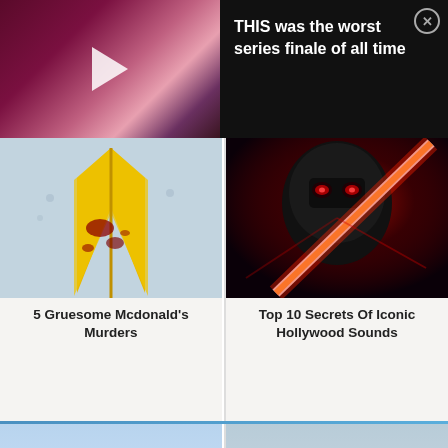[Figure (screenshot): Video thumbnail showing partial face of a person against a pink/dark background with a white play button triangle in the center]
THIS was the worst series finale of all time
[Figure (photo): Close-up of a McDonald's uniform with yellow V-shaped logo and blood stains]
5 Gruesome Mcdonald's Murders
[Figure (photo): Illustration of Darth Vader with red lightsaber]
Top 10 Secrets Of Iconic Hollywood Sounds
[Figure (photo): Cruise ship from front view against sky]
[Figure (photo): Hotel building exterior against sky with power lines]